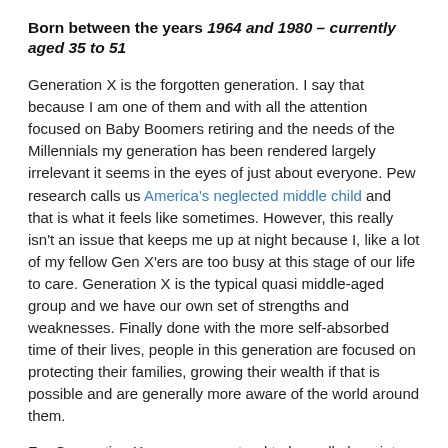Born between the years 1964 and 1980 – currently aged 35 to 51
Generation X is the forgotten generation. I say that because I am one of them and with all the attention focused on Baby Boomers retiring and the needs of the Millennials my generation has been rendered largely irrelevant it seems in the eyes of just about everyone. Pew research calls us America's neglected middle child and that is what it feels like sometimes. However, this really isn't an issue that keeps me up at night because I, like a lot of my fellow Gen X'ers are too busy at this stage of our life to care. Generation X is the typical quasi middle-aged group and we have our own set of strengths and weaknesses. Finally done with the more self-absorbed time of their lives, people in this generation are focused on protecting their families, growing their wealth if that is possible and are generally more aware of the world around them.
For Generation X preppers, we tend to be well along into careers with a somewhat stable life. Instead of nurturing...